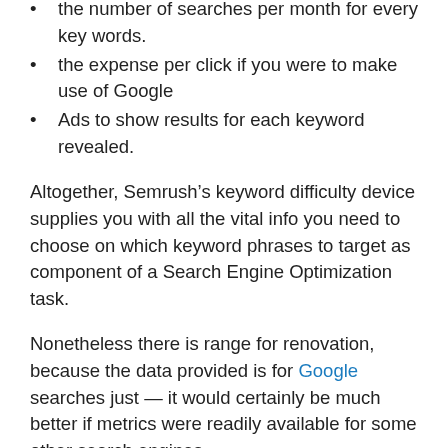the number of searches per month for every key words.
the expense per click if you were to make use of Google
Ads to show results for each keyword revealed.
Altogether, Semrush’s keyword difficulty device supplies you with all the vital info you need to choose on which keyword phrases to target as component of a Search Engine Optimization task.
Nonetheless there is range for renovation, because the data provided is for Google searches just — it would certainly be much better if metrics were readily available for some other search engines.